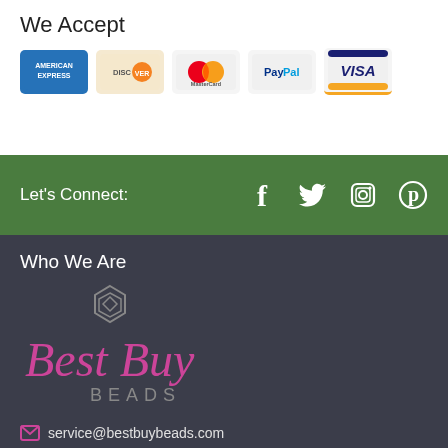We Accept
[Figure (logo): Payment method logos: American Express, Discover, MasterCard, PayPal, Visa]
Let's Connect:
[Figure (infographic): Social media icons: Facebook, Twitter, Instagram, Pinterest]
Who We Are
[Figure (logo): Best Buy Beads logo with hexagonal gem icon, cursive text and BEADS subtitle]
service@bestbuybeads.com